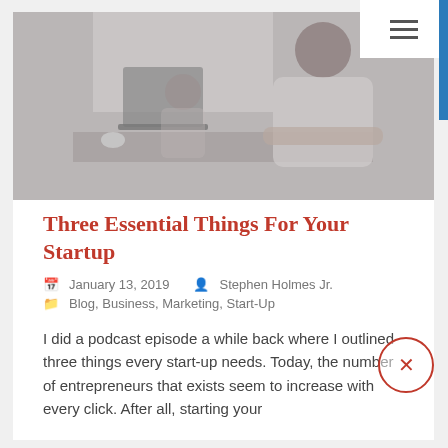[Figure (photo): Hero image of a woman working at a laptop in an office setting, with another person visible in the background. Muted/greyed color tone.]
Three Essential Things For Your Startup
January 13, 2019   Stephen Holmes Jr.
Blog, Business, Marketing, Start-Up
I did a podcast episode a while back where I outlined three things every start-up needs. Today, the number of entrepreneurs that exists seem to increase with every click. After all, starting your